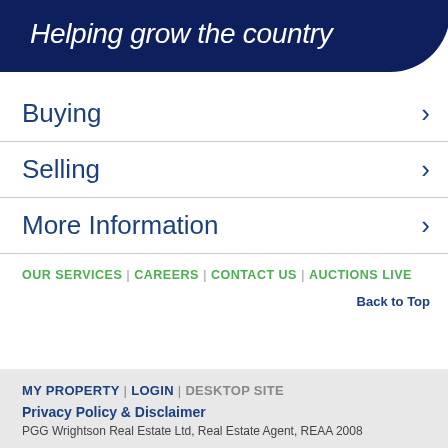Helping grow the country
Buying
Selling
More Information
OUR SERVICES | CAREERS | CONTACT US | AUCTIONS LIVE
Back to Top
MY PROPERTY | LOGIN | DESKTOP SITE
Privacy Policy & Disclaimer
PGG Wrightson Real Estate Ltd, Real Estate Agent, REAA 2008